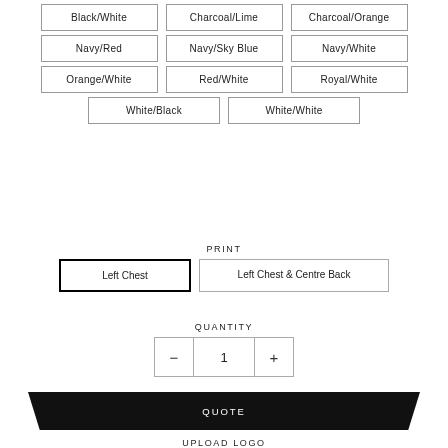Black/White
Charcoal/Lime
Charcoal/Orange
Navy/Red
Navy/Sky Blue
Navy/White
Orange/White
Red/White
Royal/White
White/Black
White/White
PRINT
Left Chest
Left Chest & Centre Back
QUANTITY
1
QUOTE
UPLOAD LOGO